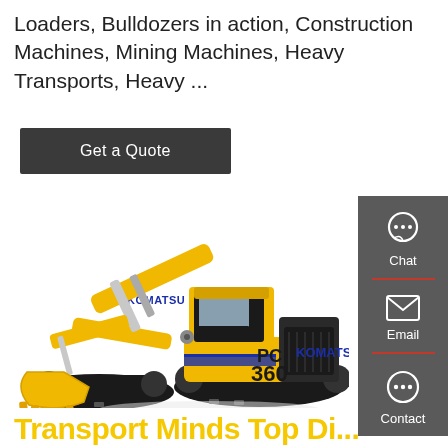Loaders, Bulldozers in action, Construction Machines, Mining Machines, Heavy Transports, Heavy ...
Get a Quote
[Figure (illustration): Komatsu PC360 yellow hydraulic excavator with black tracks on white background]
Chat
Email
Contact
Transport Minds Top Di...